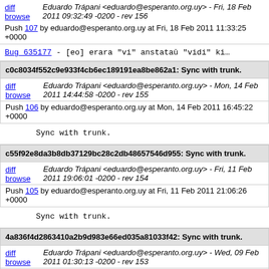diff browse | Eduardo Trápani <eduardo@esperanto.org.uy> - Fri, 18 Feb 2011 09:32:49 -0200 - rev 156
Push 107 by eduardo@esperanto.org.uy at Fri, 18 Feb 2011 11:33:25 +0000
Bug_635177 - [eo] erara "vi" anstataŭ "vidi" ki…
c0c8034f552c9e933f4cb6ec189191ea8be862a1: Sync with trunk.
diff browse | Eduardo Trápani <eduardo@esperanto.org.uy> - Mon, 14 Feb 2011 14:44:58 -0200 - rev 155
Push 106 by eduardo@esperanto.org.uy at Mon, 14 Feb 2011 16:45:22 +0000
Sync with trunk.
c55f92e8da3b8db37129bc28c2db48657546d955: Sync with trunk.
diff browse | Eduardo Trápani <eduardo@esperanto.org.uy> - Fri, 11 Feb 2011 19:06:01 -0200 - rev 154
Push 105 by eduardo@esperanto.org.uy at Fri, 11 Feb 2011 21:06:26 +0000
Sync with trunk.
4a836f4d2863410a2b9d983e66ed035a81033f42: Sync with trunk.
diff browse | Eduardo Trápani <eduardo@esperanto.org.uy> - Wed, 09 Feb 2011 01:30:13 -0200 - rev 153
Push 104 by eduardo@esperanto.org.uy at Wed, 09 Feb 2011 03:30:53 +0000